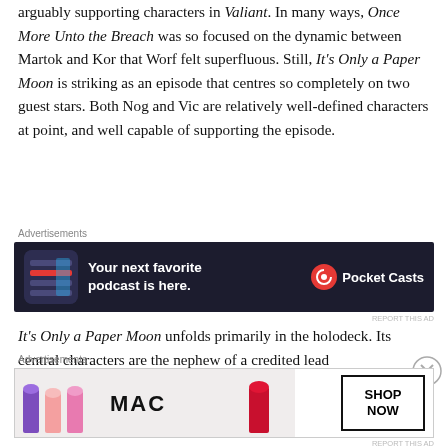arguably supporting characters in Valiant. In many ways, Once More Unto the Breach was so focused on the dynamic between Martok and Kor that Worf felt superfluous. Still, It's Only a Paper Moon is striking as an episode that centres so completely on two guest stars. Both Nog and Vic are relatively well-defined characters at point, and well capable of supporting the episode.
[Figure (screenshot): Advertisement banner for Pocket Casts podcast app. Dark background showing phone app screenshot on left, bold text 'Your next favorite podcast is here.' in center, Pocket Casts logo and name on right.]
It's Only a Paper Moon unfolds primarily in the holodeck. Its central characters are the nephew of a credited lead
[Figure (screenshot): Advertisement banner for MAC cosmetics. Shows lipsticks in purple, pink, and red colors with MAC logo and 'SHOP NOW' call to action button.]